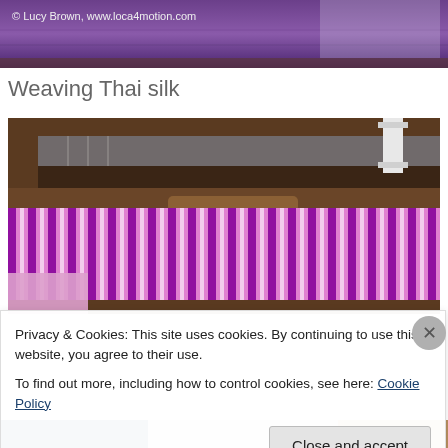[Figure (photo): Top portion of a photo showing Thai silk with purple/violet tones, partially cropped]
© Lucy Brown, www.loca4motion.com
Weaving Thai silk
[Figure (photo): A traditional Thai silk weaving loom with purple and white striped silk fabric being woven. The wooden loom machinery is visible at the top, with threads and shuttles, and the woven silk fabric with vertical stripes in purple/magenta and white extends across the lower portion.]
Privacy & Cookies: This site uses cookies. By continuing to use this website, you agree to their use.
To find out more, including how to control cookies, see here: Cookie Policy
Close and accept